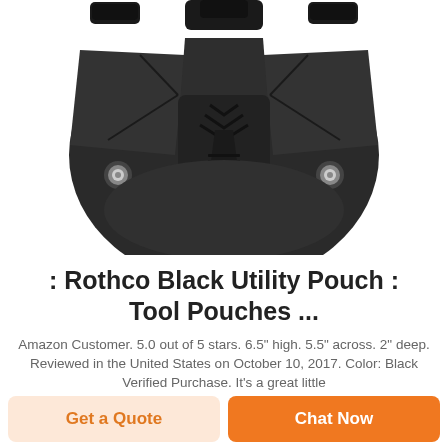[Figure (photo): Close-up photo of a black tactical/protective face mask with ventilation grill, structural paneling, and two metal eyelets on either side, viewed from the front against a white background.]
: Rothco Black Utility Pouch : Tool Pouches ...
Amazon Customer. 5.0 out of 5 stars. 6.5" high. 5.5" across. 2" deep. Reviewed in the United States on October 10, 2017. Color: Black Verified Purchase. It's a great little
Get a Quote
Chat Now